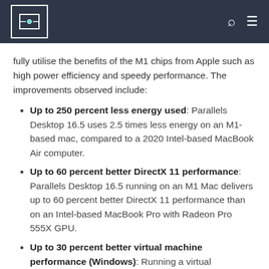[logo] [search] [menu]
fully utilise the benefits of the M1 chips from Apple such as high power efficiency and speedy performance. The improvements observed include:
Up to 250 percent less energy used: Parallels Desktop 16.5 uses 2.5 times less energy on an M1-based mac, compared to a 2020 Intel-based MacBook Air computer.
Up to 60 percent better DirectX 11 performance: Parallels Desktop 16.5 running on an M1 Mac delivers up to 60 percent better DirectX 11 performance than on an Intel-based MacBook Pro with Radeon Pro 555X GPU.
Up to 30 percent better virtual machine performance (Windows): Running a virtual...